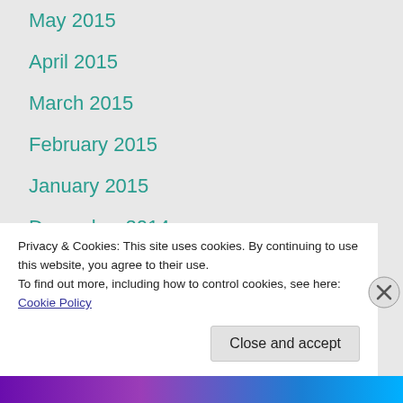May 2015
April 2015
March 2015
February 2015
January 2015
December 2014
November 2014
October 2014
September 2014
Privacy & Cookies: This site uses cookies. By continuing to use this website, you agree to their use.
To find out more, including how to control cookies, see here: Cookie Policy
Close and accept